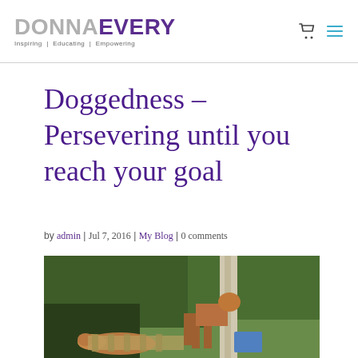DONNA EVERY | Inspiring | Educating | Empowering
Doggedness – Persevering until you reach your goal
by admin | Jul 7, 2016 | My Blog | 0 comments
[Figure (photo): Two dogs outdoors in a garden setting with green trees and foliage in the background]